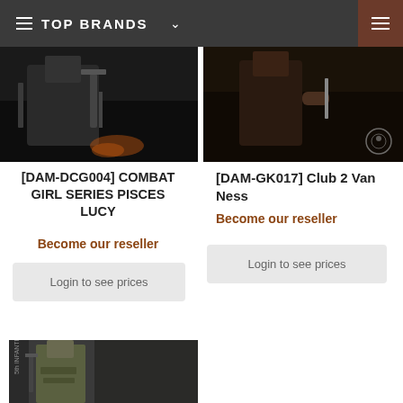TOP BRANDS
[Figure (photo): Combat action figure product photo – dark background with military gear and weapons]
[Figure (photo): Club 2 Van Ness product photo – dark background, figure with accessories]
[DAM-DCG004] COMBAT GIRL SERIES PISCES LUCY
Become our reseller
Login to see prices
[DAM-GK017] Club 2 Van Ness
Become our reseller
Login to see prices
[Figure (photo): 5th Infantry Division Staff military action figure photo, soldier holding rifle, dark background]